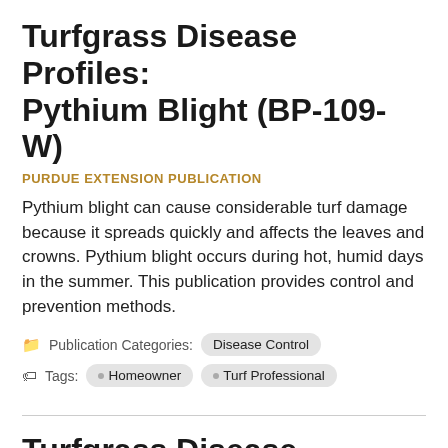Turfgrass Disease Profiles: Pythium Blight (BP-109-W)
PURDUE EXTENSION PUBLICATION
Pythium blight can cause considerable turf damage because it spreads quickly and affects the leaves and crowns. Pythium blight occurs during hot, humid days in the summer. This publication provides control and prevention methods.
Publication Categories: Disease Control
Tags: Homeowner  Turf Professional
Turfgrass Disease Profiles: Anthracnose (BP-108-W)